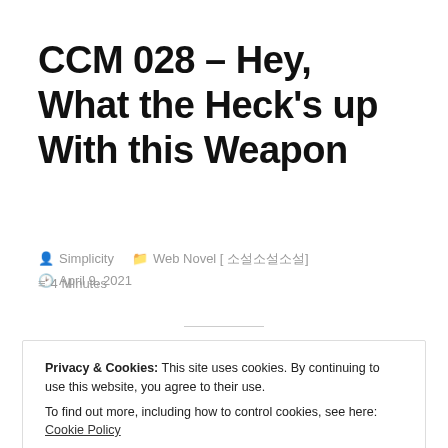CCM 028 – Hey, What the Heck's up With this Weapon
By Simplicity   Web Novel [ 소설소설소설 ]   April 9, 2021   4 Minutes
Privacy & Cookies: This site uses cookies. By continuing to use this website, you agree to their use.
To find out more, including how to control cookies, see here: Cookie Policy
Close and accept